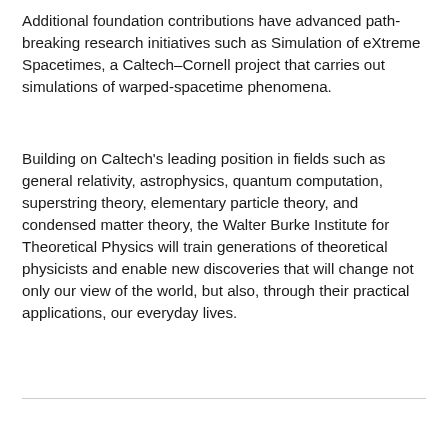Additional foundation contributions have advanced path-breaking research initiatives such as Simulation of eXtreme Spacetimes, a Caltech–Cornell project that carries out simulations of warped-spacetime phenomena.
Building on Caltech's leading position in fields such as general relativity, astrophysics, quantum computation, superstring theory, elementary particle theory, and condensed matter theory, the Walter Burke Institute for Theoretical Physics will train generations of theoretical physicists and enable new discoveries that will change not only our view of the world, but also, through their practical applications, our everyday lives.